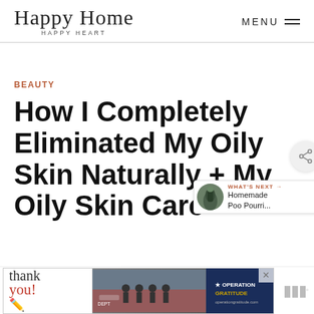Happy Home Happy Heart | MENU
BEAUTY
How I Completely Eliminated My Oily Skin Naturally + My Oily Skin Care
[Figure (other): Share button (circular icon with share symbol)]
[Figure (other): What's Next panel showing a thumbnail image and text: WHAT'S NEXT → Homemade Poo Pourri...]
[Figure (other): Advertisement banner: Thank you Operation Gratitude ad with firefighters image and close button]